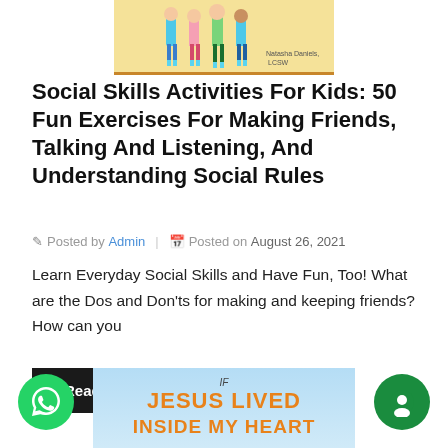[Figure (illustration): Top portion of a book cover with illustrated characters on a yellow/tan background with orange border]
Social Skills Activities For Kids: 50 Fun Exercises For Making Friends, Talking And Listening, And Understanding Social Rules
Posted by Admin  |  Posted on  August 26, 2021
Learn Everyday Social Skills and Have Fun, Too! What are the Dos and Don'ts for making and keeping friends? How can you
Read More
[Figure (illustration): Bottom portion of a book cover with blue sky background and text 'IF JESUS LIVED INSIDE MY HEART' in orange letters]